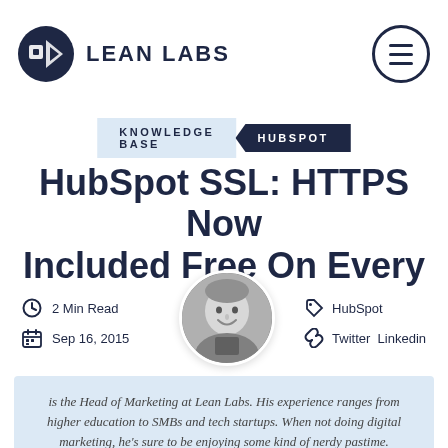LEAN LABS
KNOWLEDGE BASE  HUBSPOT
HubSpot SSL: HTTPS Now Included Free On Every Site
2 Min Read   Sep 16, 2015   HubSpot   Twitter  Linkedin
[Figure (photo): Black and white circular author headshot photo of a smiling man]
is the Head of Marketing at Lean Labs. His experience ranges from higher education to SMBs and tech startups. When not doing digital marketing, he’s sure to be enjoying some kind of nerdy pastime.